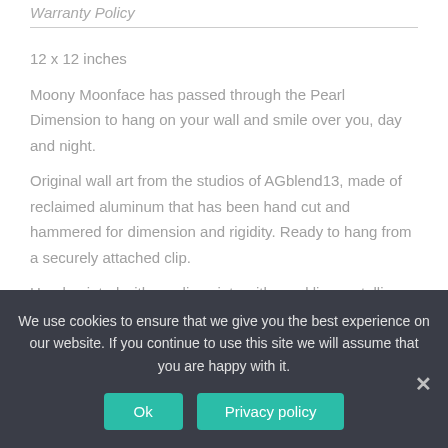Warranty Policy
12 x 12 inches
Moony Moonface has passed through the Pearl Dimension to hang on your wall and smile over you, day and night.
Original wall art from the studios of AGblend13, made of reclaimed aluminum that has been hand cut and hammered for dimension and rigidity. Ready to hang from a securely attached clip.
Hand painted with acrylic paints with sparkling metallic overlay creating a hazy, pearly, rainbow effect. The speckled moon
We use cookies to ensure that we give you the best experience on our website. If you continue to use this site we will assume that you are happy with it.
Ok
Privacy policy